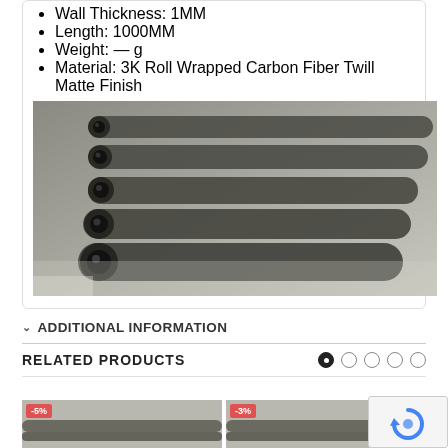Wall Thickness: 1MM
Length: 1000MM
Weight: — g
Material: 3K Roll Wrapped Carbon Fiber Twill Matte Finish
[Figure (photo): Several carbon fiber tubes arranged diagonally, showing twill weave pattern with matte finish]
ADDITIONAL INFORMATION
RELATED PRODUCTS
[Figure (photo): Product thumbnail with -5% badge]
[Figure (photo): Product thumbnail with -3% badge]